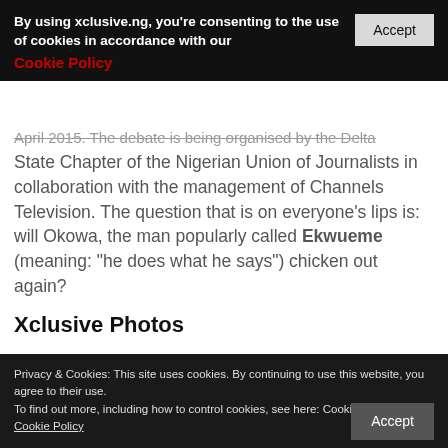By using xclusive.ng, you're consenting to the use of cookies in accordance with our Cookie Policy [Accept button]
April 2015. The debate is being organised by the Delta State Chapter of the Nigerian Union of Journalists in collaboration with the management of Channels Television. The question that is on everyone's lips is: will Okowa, the man popularly called Ekwueme (meaning: "he does what he says") chicken out again?
Xclusive Photos
Privacy & Cookies: This site uses cookies. By continuing to use this website, you agree to their use.
To find out more, including how to control cookies, see here: Cookie Policy
Cookie Policy
[Accept button]
[Figure (photo): Photo strip partially visible at the bottom of the page showing people]